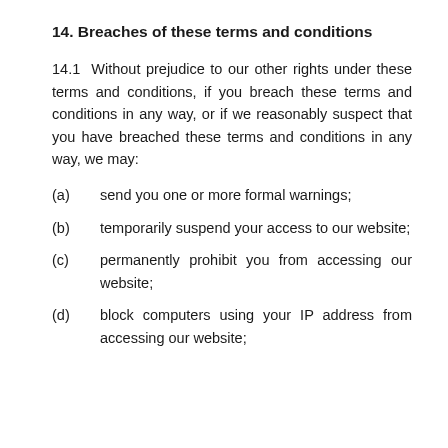14. Breaches of these terms and conditions
14.1  Without prejudice to our other rights under these terms and conditions, if you breach these terms and conditions in any way, or if we reasonably suspect that you have breached these terms and conditions in any way, we may:
(a)    send you one or more formal warnings;
(b)      temporarily suspend your access to our website;
(c)      permanently prohibit you from accessing our website;
(d)       block computers using your IP address from accessing our website;